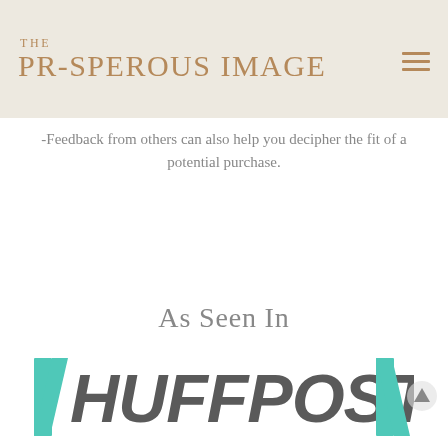THE PROSPEROUS IMAGE
-Feedback from others can also help you decipher the fit of a potential purchase.
As Seen In
[Figure (logo): HuffPost logo in teal and dark gray]